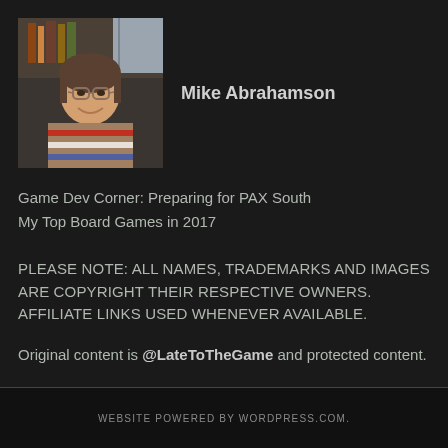[Figure (photo): Profile photo of Mike Abrahamson, a man wearing glasses and a striped sweater, smiling, with a bookshelf in the background]
Mike Abrahamson
Game Dev Corner: Preparing for PAX South
My Top Board Games in 2017
PLEASE NOTE: ALL NAMES, TRADEMARKS AND IMAGES ARE COPYRIGHT THEIR RESPECTIVE OWNERS. AFFILIATE LINKS USED WHENEVER AVAILABLE.
Original content is @LateToTheGame and protected content.
WEBSITE POWERED BY WORDPRESS.COM.